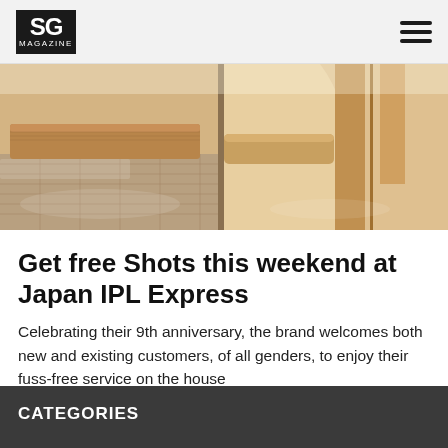SG MAGAZINE
[Figure (photo): Interior photo of a spa or wellness facility showing wooden benches, tiled floor, and curved architectural elements in warm tones]
Get free Shots this weekend at Japan IPL Express
Celebrating their 9th anniversary, the brand welcomes both new and existing customers, of all genders, to enjoy their fuss-free service on the house
View All News >
CATEGORIES